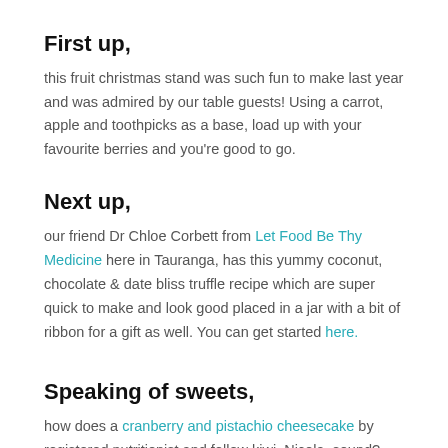First up,
this fruit christmas stand was such fun to make last year and was admired by our table guests! Using a carrot, apple and toothpicks as a base, load up with your favourite berries and you're good to go.
Next up,
our friend Dr Chloe Corbett from Let Food Be Thy Medicine here in Tauranga, has this yummy coconut, chocolate & date bliss truffle recipe which are super quick to make and look good placed in a jar with a bit of ribbon for a gift as well. You can get started here.
Speaking of sweets,
how does a cranberry and pistachio cheesecake by registered nutritionist and fellow kiwi, Nicola, sound? Not